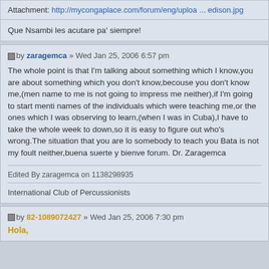Attachment: http://mycongaplace.com/forum/eng/uploa ... edison.jpg
Que Nsambi les acutare pa' siempre!
by zaragemca » Wed Jan 25, 2006 6:57 pm
The whole point is that I'm talking about something which I know,you are about something which you don't know,becouse you don't know me,(men name to me is not going to impress me neither),if I'm going to start menti names of the individuals which were teaching me,or the ones which I was observing to learn,(when I was in Cuba),I have to take the whole week to down,so it is easy to figure out who's wrong.The situation that you are lo somebody to teach you Bata is not my foult neither,buena suerte y bienve forum. Dr. Zaragemca
Edited By zaragemca on 1138298935
International Club of Percussionists
by 82-1089072427 » Wed Jan 25, 2006 7:30 pm
Hola,